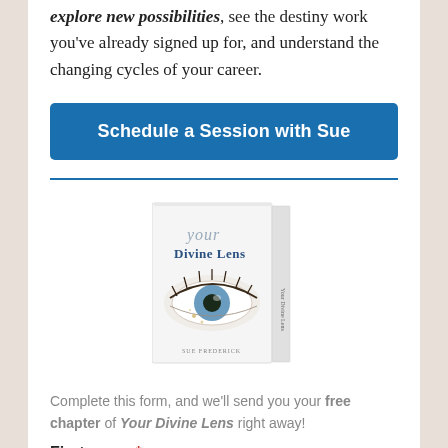explore new possibilities, see the destiny work you've already signed up for, and understand the changing cycles of your career.
Schedule a Session with Sue
[Figure (illustration): Book cover image for 'Your Divine Lens' showing a close-up of an eye on the cover]
Complete this form, and we'll send you your free chapter of Your Divine Lens right away!
First name *